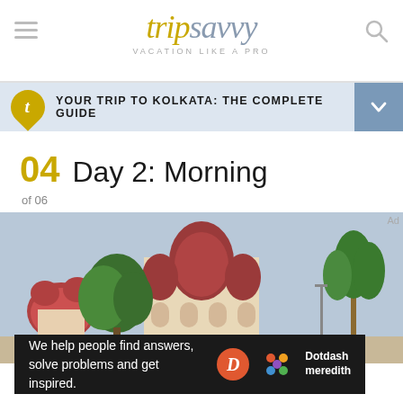tripsavvy VACATION LIKE A PRO
YOUR TRIP TO KOLKATA: THE COMPLETE GUIDE
04 Day 2: Morning
of 06
[Figure (photo): Photo of a temple with red domes and green trees in Kolkata]
We help people find answers, solve problems and get inspired.
[Figure (logo): Dotdash Meredith logo]